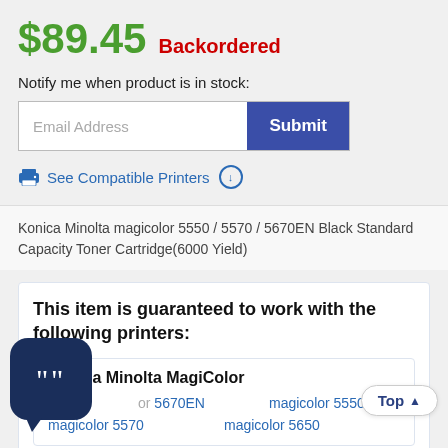$89.45 Backordered
Notify me when product is in stock:
Email Address  Submit
See Compatible Printers ⊕
Konica Minolta magicolor 5550 / 5570 / 5670EN Black Standard Capacity Toner Cartridge(6000 Yield)
This item is guaranteed to work with the following printers:
Konica Minolta MagiColor
magicolor 5670EN
magicolor 5550
magicolor 5570
magicolor 5650